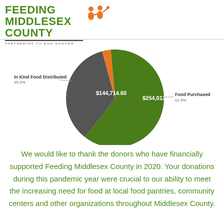[Figure (logo): Feeding Middlesex County logo with orange figures and green text, tagline PARTNERING TO END HUNGER]
[Figure (pie-chart): Food Distribution Breakdown]
We would like to thank the donors who have financially supported Feeding Middlesex County in 2020. Your donations during this pandemic year were crucial to our ability to meet the increasing need for food at local food pantries, community centers and other organizations throughout Middlesex County.